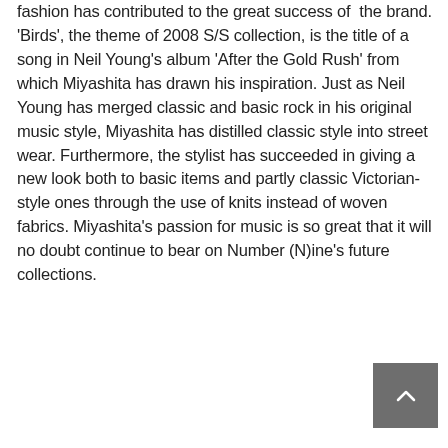fashion has contributed to the great success of the brand. 'Birds', the theme of 2008 S/S collection, is the title of a song in Neil Young's album 'After the Gold Rush' from which Miyashita has drawn his inspiration. Just as Neil Young has merged classic and basic rock in his original music style, Miyashita has distilled classic style into street wear. Furthermore, the stylist has succeeded in giving a new look both to basic items and partly classic Victorian-style ones through the use of knits instead of woven fabrics. Miyashita's passion for music is so great that it will no doubt continue to bear on Number (N)ine's future collections.
numberniners.com